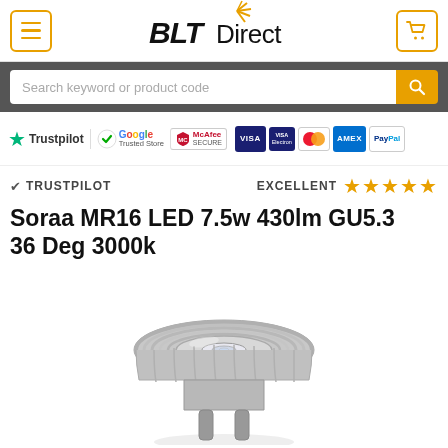BLT Direct
Search keyword or product code
[Figure (logo): Trust badges row: Trustpilot, Google Trusted Store, McAfee Secure, VISA, VISA Electron, Mastercard, AMEX, PayPal]
✔ TRUSTPILOT    EXCELLENT ★★★★★
Soraa MR16 LED 7.5w 430lm GU5.3 36 Deg 3000k
[Figure (photo): Soraa MR16 LED bulb, silver/grey heat sink design with GU5.3 base, viewed from front-top angle]